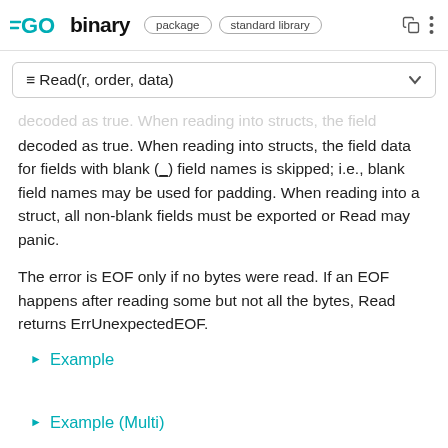GO binary | package | standard library
☰ Read(r, order, data)
decoded as true. When reading into structs, the field data for fields with blank (_) field names is skipped; i.e., blank field names may be used for padding. When reading into a struct, all non-blank fields must be exported or Read may panic.
The error is EOF only if no bytes were read. If an EOF happens after reading some but not all the bytes, Read returns ErrUnexpectedEOF.
▶ Example
▶ Example (Multi)